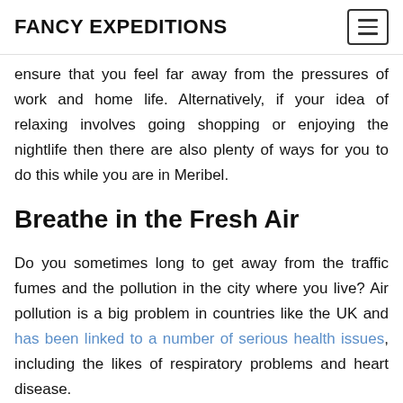FANCY EXPEDITIONS
ensure that you feel far away from the pressures of work and home life. Alternatively, if your idea of relaxing involves going shopping or enjoying the nightlife then there are also plenty of ways for you to do this while you are in Meribel.
Breathe in the Fresh Air
Do you sometimes long to get away from the traffic fumes and the pollution in the city where you live? Air pollution is a big problem in countries like the UK and has been linked to a number of serious health issues, including the likes of respiratory problems and heart disease.
As soon as you arrive to Meribel you will feel the